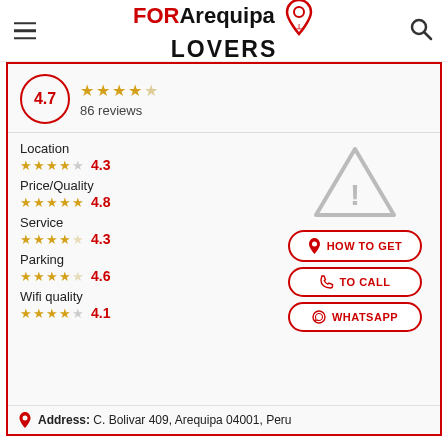FOR Arequipa LOVERS
4.7 — 86 reviews
Location ★★★★☆ 4.3
Price/Quality ★★★★★ 4.8
Service ★★★★☆ 4.3
Parking ★★★★½ 4.6
Wifi quality ★★★★☆ 4.1
HOW TO GET
TO CALL
WHATSAPP
Address: C. Bolivar 409, Arequipa 04001, Peru